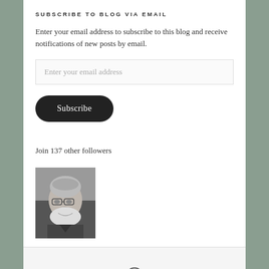SUBSCRIBE TO BLOG VIA EMAIL
Enter your email address to subscribe to this blog and receive notifications of new posts by email.
[Figure (screenshot): Email address input field with placeholder text 'Enter your email address']
[Figure (screenshot): Dark rounded Subscribe button]
Join 137 other followers
[Figure (photo): Black and white photo of an elderly bearded man with glasses, smiling]
WordPress logo icon